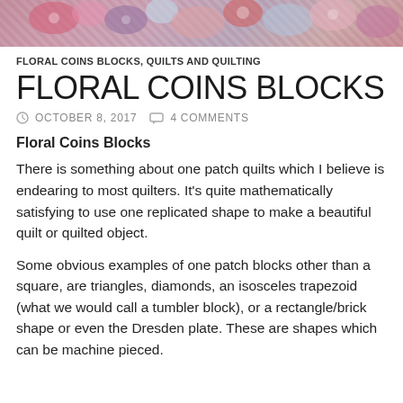[Figure (photo): Decorative banner image showing colorful floral quilting fabrics at the top of the page]
FLORAL COINS BLOCKS, QUILTS AND QUILTING
FLORAL COINS BLOCKS
⊙ OCTOBER 8, 2017   💬 4 COMMENTS
Floral Coins Blocks
There is something about one patch quilts which I believe is endearing to most quilters.  It's quite mathematically satisfying to use one replicated shape to make a beautiful quilt or quilted object.
Some obvious examples of one patch blocks other than a square, are triangles, diamonds, an isosceles trapezoid (what we would call a tumbler block),  or a rectangle/brick shape or even the Dresden plate. These are shapes which can be machine pieced.